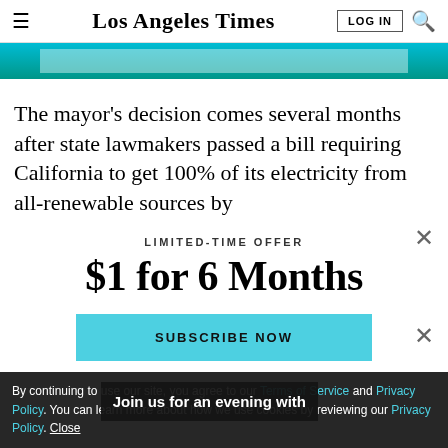Los Angeles Times
[Figure (other): Teal/cyan advertisement banner image]
The mayor's decision comes several months after state lawmakers passed a bill requiring California to get 100% of its electricity from all-renewable sources by...
LIMITED-TIME OFFER
$1 for 6 Months
SUBSCRIBE NOW
By continuing to use our site, you agree to our Terms of Service and Privacy Policy. You can learn more about how we use cookies by reviewing our Privacy Policy. Close
Join us for an evening with